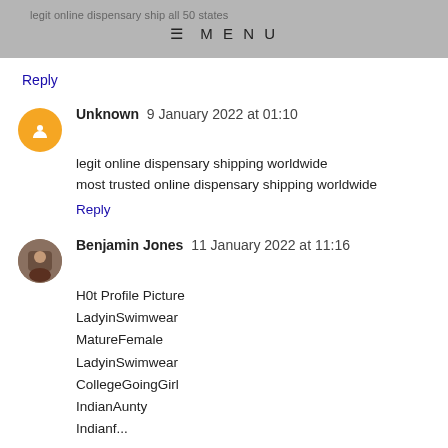legit online dispensary ship all 50 states  ☰ MENU
Reply
Unknown 9 January 2022 at 01:10
legit online dispensary shipping worldwide
most trusted online dispensary shipping worldwide
Reply
Benjamin Jones 11 January 2022 at 11:16
H0t Profile Picture
LadyinSwimwear
MatureFemale
LadyinSwimwear
CollegeGoingGirl
IndianAunty
Indianf...